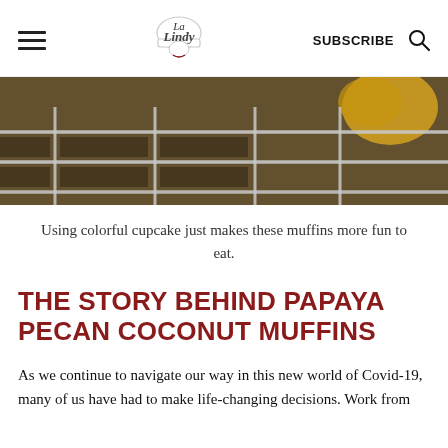SUBSCRIBE
[Figure (photo): Close-up photo of a wire cooling rack with colorful muffins in cupcake liners, yellow/orange tones visible through the grid.]
Using colorful cupcake just makes these muffins more fun to eat.
THE STORY BEHIND PAPAYA PECAN COCONUT MUFFINS
As we continue to navigate our way in this new world of Covid-19, many of us have had to make life-changing decisions. Work from